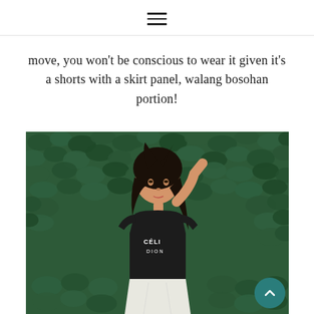☰ (hamburger menu icon)
move, you won't be conscious to wear it given it's a shorts with a skirt panel, walang bosohan portion!
[Figure (photo): A young Asian woman wearing a black graphic t-shirt (with 'CÉLINE DION' text) and white skirt/shorts, standing in front of a dense green ivy-covered wall, hand raised to her head.]